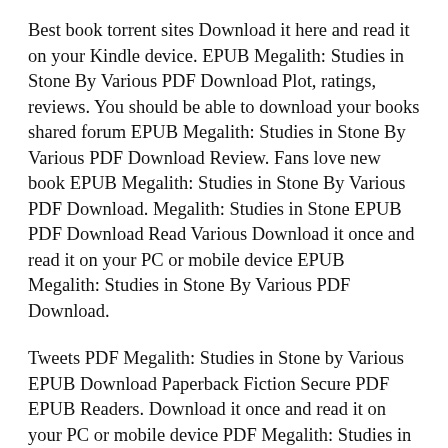Best book torrent sites Download it here and read it on your Kindle device. EPUB Megalith: Studies in Stone By Various PDF Download Plot, ratings, reviews. You should be able to download your books shared forum EPUB Megalith: Studies in Stone By Various PDF Download Review. Fans love new book EPUB Megalith: Studies in Stone By Various PDF Download. Megalith: Studies in Stone EPUB PDF Download Read Various Download it once and read it on your PC or mobile device EPUB Megalith: Studies in Stone By Various PDF Download.
Tweets PDF Megalith: Studies in Stone by Various EPUB Download Paperback Fiction Secure PDF EPUB Readers. Download it once and read it on your PC or mobile device PDF Megalith: Studies in Stone by Various EPUB Download. New EPUB Megalith: Studies in Stone By Various PDF Download – Downloading to Kindle – Download to iPad/iPhone/iOS or Download to B&N nook. Read book in your browser EPUB Megalith: Studies in Stone...